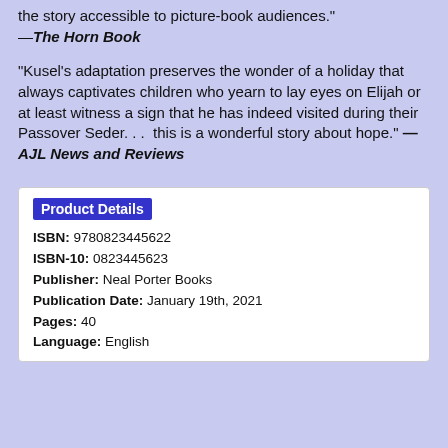the story accessible to picture-book audiences." —The Horn Book
"Kusel's adaptation preserves the wonder of a holiday that always captivates children who yearn to lay eyes on Elijah or at least witness a sign that he has indeed visited during their Passover Seder. . .  this is a wonderful story about hope." — AJL News and Reviews
Product Details
ISBN: 9780823445622
ISBN-10: 0823445623
Publisher: Neal Porter Books
Publication Date: January 19th, 2021
Pages: 40
Language: English